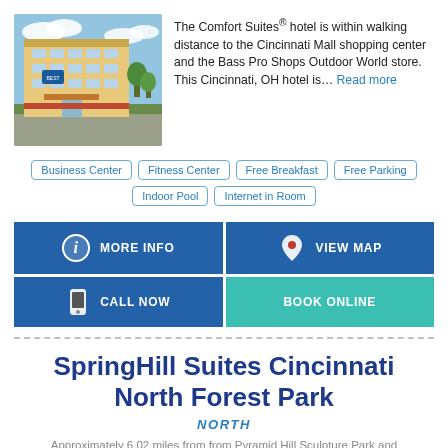[Figure (photo): Exterior photo of Comfort Suites hotel building]
The Comfort Suites® hotel is within walking distance to the Cincinnati Mall shopping center and the Bass Pro Shops Outdoor World store. This Cincinnati, OH hotel is... Read more
Business Center
Fitness Center
Free Breakfast
Free Parking
Indoor Pool
Internet in Room
MORE INFO
VIEW MAP
CALL NOW
BOOK ONLINE
SpringHill Suites Cincinnati North Forest Park
NORTH
Approximately 6.02 miles from from Pyramid Hill Sculpture Park and